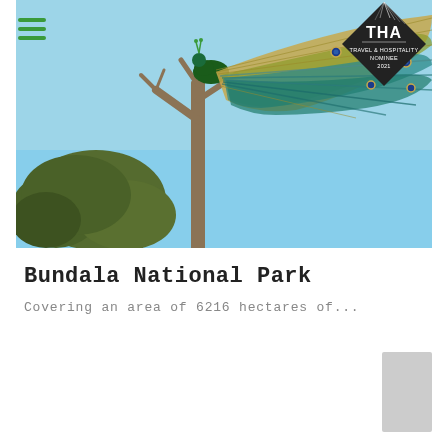[Figure (photo): Photograph of a peacock perched on bare tree branches against a blue sky. The peacock's colorful tail feathers with iridescent blue and green plumage are visible on the right side of the image.]
[Figure (logo): THA Travel & Hospitality Awards Nominee 2021 diamond-shaped badge in dark/black color with white text]
Bundala National Park
Covering an area of 6216 hectares of...